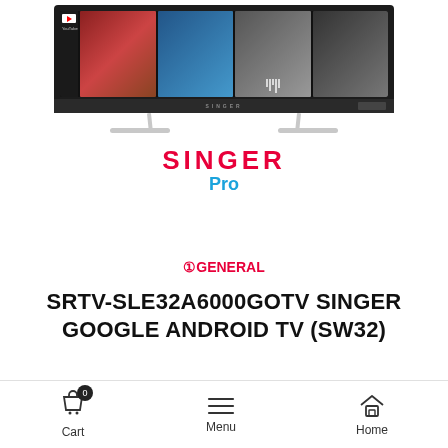[Figure (photo): Singer Android TV product image showing a flat screen TV with YouTube and video thumbnails on screen, with silver stand legs. Singer Pro logo displayed below the TV image.]
[Figure (logo): OGeneral brand logo in red text]
SRTV-SLE32A6000GOTV SINGER GOOGLE ANDROID TV (SW32)
Price: ৳ 27,490
Cart  Menu  Home